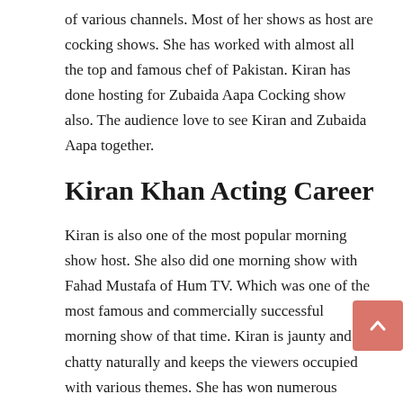of various channels. Most of her shows as host are cocking shows. She has worked with almost all the top and famous chef of Pakistan. Kiran has done hosting for Zubaida Aapa Cocking show also. The audience love to see Kiran and Zubaida Aapa together.
Kiran Khan Acting Career
Kiran is also one of the most popular morning show host. She also did one morning show with Fahad Mustafa of Hum TV. Which was one of the most famous and commercially successful morning show of that time. Kiran is jaunty and chatty naturally and keeps the viewers occupied with various themes. She has won numerous awards for her fine hosting skills. She is not only a host but also a well known actress. Kiran showed her talent as actress on big screen. She acted in the short film “Kala Pul”. Which was a US-Pakistani short film. She had also served as a producer as well. And produced an Indian show named